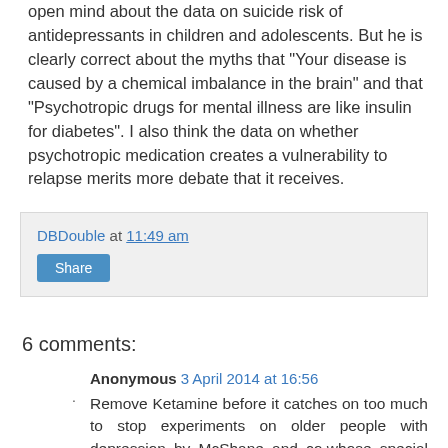open mind about the data on suicide risk of antidepressants in children and adolescents. But he is clearly correct about the myths that "Your disease is caused by a chemical imbalance in the brain" and that "Psychotropic drugs for mental illness are like insulin for diabetes". I also think the data on whether psychotropic medication creates a vulnerability to relapse merits more debate that it receives.

(With thanks to Olga Runciman)
DBDouble at 11:49 am
Share
6 comments:
Anonymous 3 April 2014 at 16:56
Remove Ketamine before it catches on too much to stop experiments on older people with depression by McShane and co.whose special interest is older age. They will need a